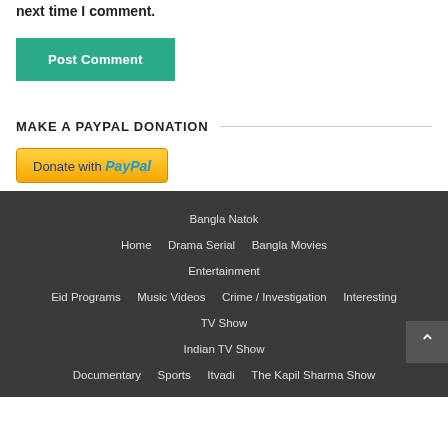next time I comment.
Post Comment
MAKE A PAYPAL DONATION
[Figure (other): Donate with PayPal button]
Bangla Natok | Home | Drama Serial | Bangla Movies | Entertainment | Eid Programs | Music Videos | Crime / Investigation | Interesting | TV Show | Indian TV Show | Documentary | Sports | Itvadi | The Kapil Sharma Show